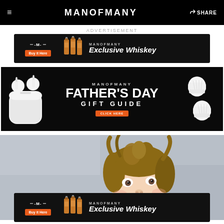MANOFMANY  SHARE
ADVERTISEMENT
[Figure (screenshot): Man of Many Exclusive Whiskey advertisement banner with orange Buy it Here button and whiskey bottle images]
[Figure (screenshot): Man of Many Father's Day Gift Guide advertisement banner with AirPods and white sneakers]
[Figure (photo): Baby with curly mullet hairstyle laughing, looking upward, against grey background]
[Figure (screenshot): Man of Many Exclusive Whiskey advertisement banner (bottom) with orange Buy it Here button and whiskey bottle images]